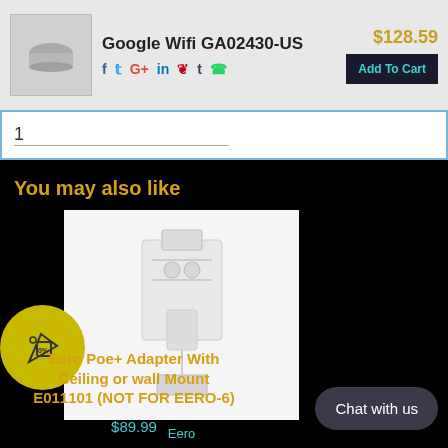Google Wifi GA02430-US
$128.59
Add To Cart
1
You may also like
[Figure (photo): Product image of Eero Poe+ Adapter with ceiling or wall mount hardware, showing mounting bracket assembly on white background]
Eero
Eero Poe+ Adapter With Ceiling or wall Mount E011101 (NOT FOR EERO-6)
$89.99
Chat with us